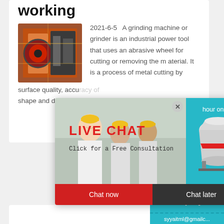working
2021-6-5   A grinding machine or grinder is an industrial power tool that uses an abrasive wheel for cutting or removing the material. It is a process of metal cutting by surface quality, accuracy of shape and dimensions.
[Figure (photo): Industrial grinding machine with red/orange mechanical parts]
[Figure (photo): Live chat popup showing workers in yellow hard hats, with LIVE CHAT text in red, Chat now and Chat later buttons, and a cone crusher machine on the right side]
hour online
Click me to chat>>
Enquiry
syyaitml@gmail...